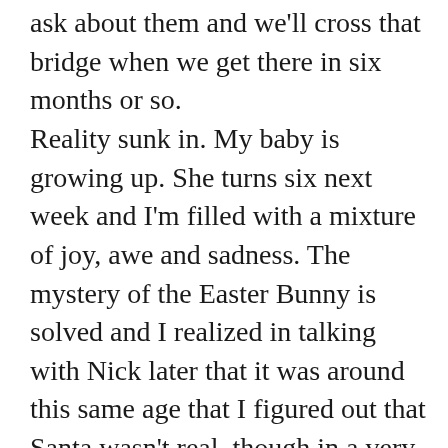ask about them and we'll cross that bridge when we get there in six months or so.
Reality sunk in. My baby is growing up. She turns six next week and I'm filled with a mixture of joy, awe and sadness. The mystery of the Easter Bunny is solved and I realized in talking with Nick later that it was around this same age that I figured out that Santa wasn't real, though in a very painful way, which involved my parents refusing to be honest with me and even threatening that Santa wouldn't come if I didn't believe.